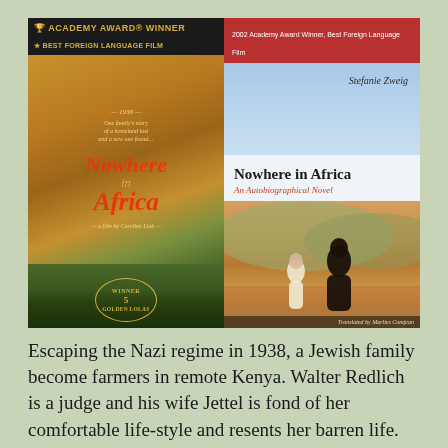[Figure (photo): Two images side by side: left is the movie poster for 'Nowhere in Africa' (Academy Award Winner, Best Foreign Language Film, Winner 5 Golden Lolas, a film by Caroline Link); right is the book cover for 'Nowhere in Africa: An Autobiographical Novel' by Stefanie Zweig (2002 Academy Award Winner, Best Foreign Language Film, Translated by Marlies Comjean), featuring a child and adult running on red African soil.]
Escaping the Nazi regime in 1938, a Jewish family become farmers in remote Kenya. Walter Redlich is a judge and his wife Jettel is fond of her comfortable life-style and resents her barren life. Their five year old daughter